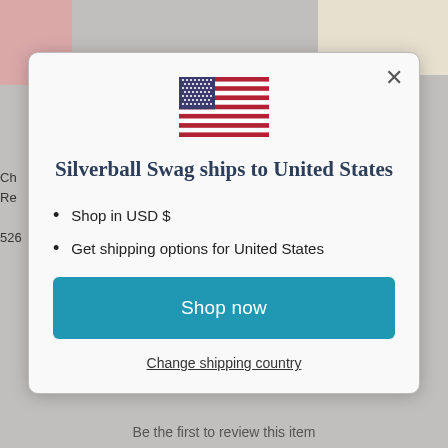[Figure (screenshot): Background showing partial view of clothing product images and a modal dialog overlay]
Silverball Swag ships to United States
Shop in USD $
Get shipping options for United States
Shop now
Change shipping country
Be the first to review this item